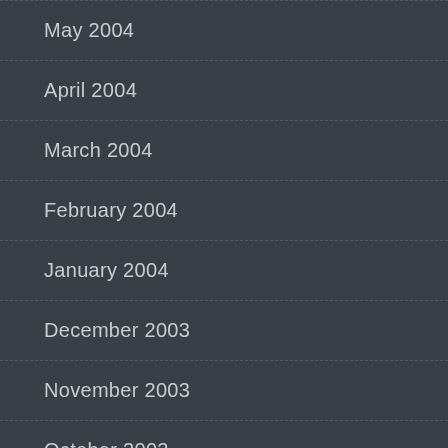May 2004
April 2004
March 2004
February 2004
January 2004
December 2003
November 2003
October 2003